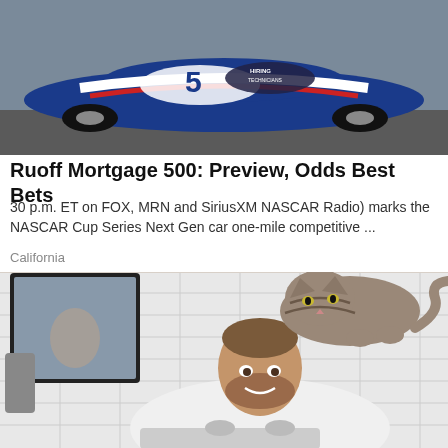[Figure (photo): NASCAR race car in blue, white, and red livery on a track, with 'HIRING TECHNICIANS' text visible on windshield]
Ruoff Mortgage 500: Preview, Odds Best Bets
30 p.m. ET on FOX, MRN and SiriusXM NASCAR Radio) marks the NASCAR Cup Series Next Gen car one-mile competitive ...
California
[Figure (photo): A smiling bearded man in a white shirt washing his hands at a bathroom sink while a cat stands on his back, looking down at him. White tile walls and a mirror visible in background.]